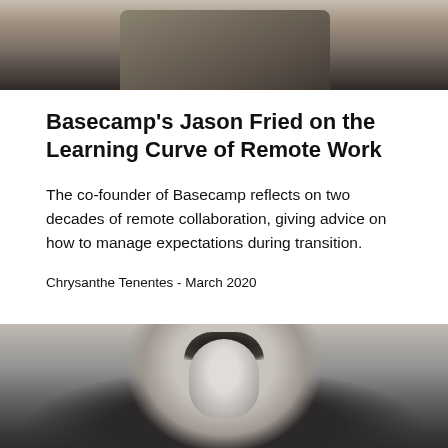[Figure (photo): Top portion of a person wearing a khaki/olive jacket, cropped at the shoulders and neck, black and white or muted tones.]
Basecamp’s Jason Fried on the Learning Curve of Remote Work
The co-founder of Basecamp reflects on two decades of remote collaboration, giving advice on how to manage expectations during transition.
Chrysanthe Tenentes - March 2020
[Figure (photo): Black and white portrait photo of a man (Jason Fried) from the chest up, with dark hair, looking at the camera, outdoors background.]